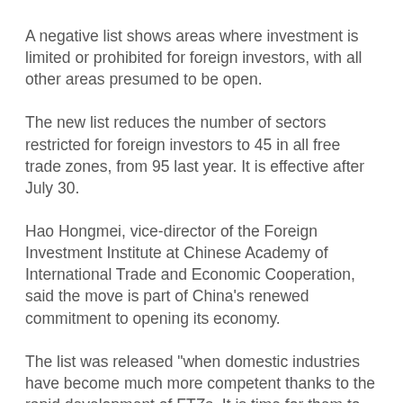A negative list shows areas where investment is limited or prohibited for foreign investors, with all other areas presumed to be open.
The new list reduces the number of sectors restricted for foreign investors to 45 in all free trade zones, from 95 last year. It is effective after July 30.
Hao Hongmei, vice-director of the Foreign Investment Institute at Chinese Academy of International Trade and Economic Cooperation, said the move is part of China's renewed commitment to opening its economy.
The list was released "when domestic industries have become much more competent thanks to the rapid development of FTZs. It is time for them to expand overseas businesses", Hao said. "It will not only enable Chinese companies to collaborate with foreign